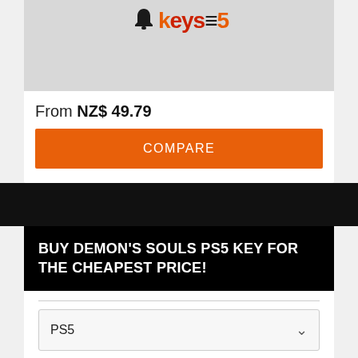[Figure (logo): Partially visible product logo with bell icon and stylized text in orange/red on gray background]
From NZ$ 49.79
COMPARE
BUY DEMON'S SOULS PS5 KEY FOR THE CHEAPEST PRICE!
PS5
Payment methods